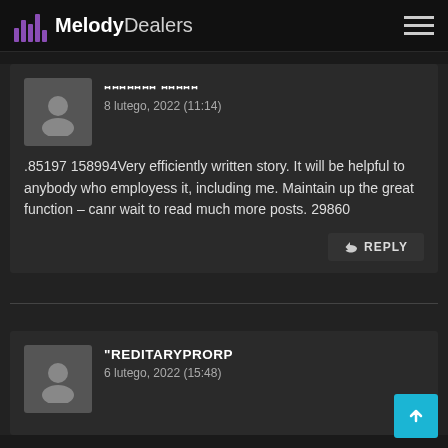MelodyDealers
ꟷꟷꟷꟷꟷꟷꟷ ꟷꟷꟷꟷꟷ — 8 lutego, 2022 (11:14) — .85197 158994Very efficiently written story. It will be helpful to anybody who employess it, including me. Maintain up the great function – canr wait to read much more posts. 29860
REPLY
"REDITARYPRORP — 6 lutego, 2022 (15:48)